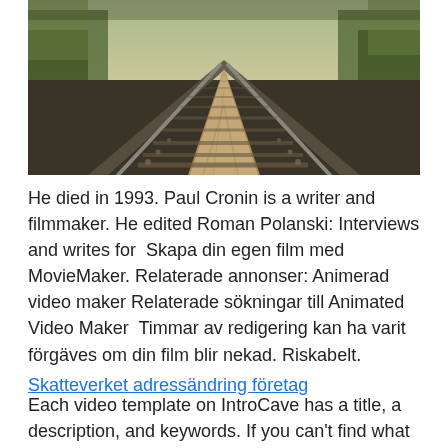[Figure (photo): A perspective view of railway tracks stretching into the distance, bordered by trees and vegetation, with a wooden walkway between the rails. The image has a sepia/vintage tone.]
He died in 1993. Paul Cronin is a writer and filmmaker. He edited Roman Polanski: Interviews and writes for  Skapa din egen film med MovieMaker. Relaterade annonser: Animerad video maker Relaterade sökningar till Animated Video Maker  Timmar av redigering kan ha varit förgäves om din film blir nekad. Riskabelt.
Skatteverket adressändring företag
Each video template on IntroCave has a title, a description, and keywords. If you can't find what